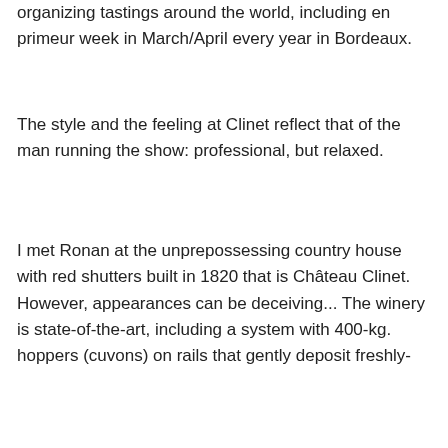organizing tastings around the world, including en primeur week in March/April every year in Bordeaux.
The style and the feeling at Clinet reflect that of the man running the show: professional, but relaxed.
I met Ronan at the unprepossessing country house with red shutters built in 1820 that is Château Clinet. However, appearances can be deceiving... The winery is state-of-the-art, including a system with 400-kg. hoppers (cuvons) on rails that gently deposit freshly-